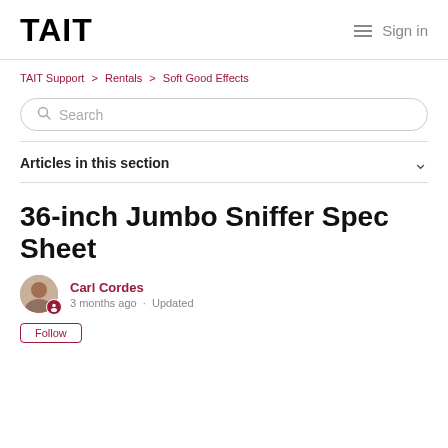TAIT  Sign in
TAIT Support > Rentals > Soft Good Effects
Search
Articles in this section
36-inch Jumbo Sniffer Spec Sheet
Carl Cordes
3 months ago · Updated